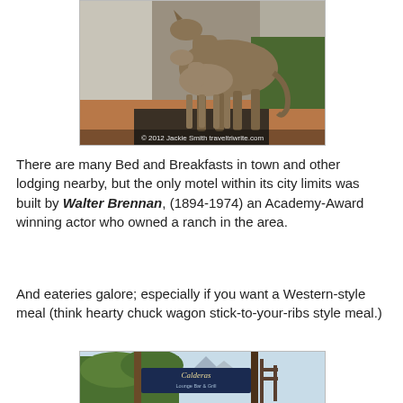[Figure (photo): Bronze sculpture of a mare and foal outdoors, with watermark '© 2012 Jackie Smith traveltriwrite.com']
There are many Bed and Breakfasts in town and other lodging nearby, but the only motel within its city limits was built by Walter Brennan, (1894-1974) an Academy-Award winning actor who owned a ranch in the area.
And eateries galore; especially if you want a Western-style meal (think hearty chuck wagon stick-to-your-ribs style meal.)
[Figure (photo): Outdoor restaurant sign reading 'Calderas' with greenery and mountains in background]